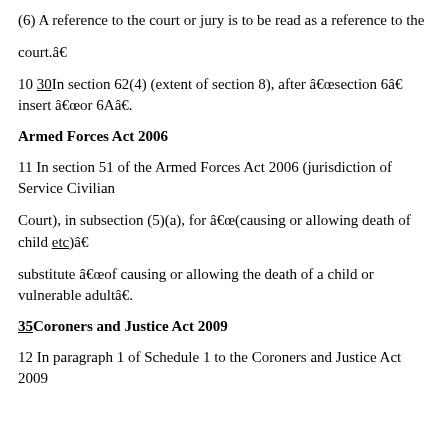(6) A reference to the court or jury is to be read as a reference to the
court.â€
10 30In section 62(4) (extent of section 8), after â€œsection 6â€ insert â€œor 6Aâ€.
Armed Forces Act 2006
11 In section 51 of the Armed Forces Act 2006 (jurisdiction of Service Civilian
Court), in subsection (5)(a), for â€œ(causing or allowing death of child etc)â€
substitute â€œof causing or allowing the death of a child or vulnerable adultâ€.
35Coroners and Justice Act 2009
12 In paragraph 1 of Schedule 1 to the Coroners and Justice Act 2009